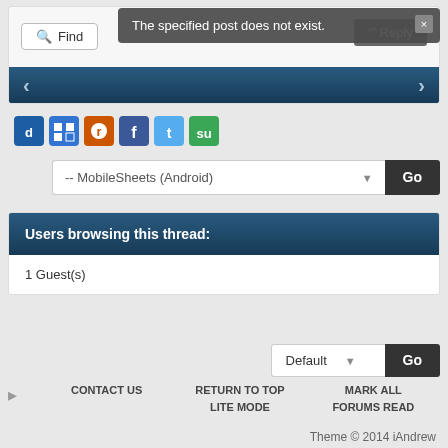[Figure (screenshot): Forum page screenshot showing a Find button, Reply button, navy navigation bar with arrows, toast notification saying 'The specified post does not exist.', social share icons, MobileSheets dropdown with Go button, Users browsing this thread section showing 1 Guest(s), Default theme selector with Go button, footer links including RSS, Contact Us, Return to Top, Lite Mode, Mark All Forums Read, and Theme copyright notice.]
The specified post does not exist.
Find
Reply
-- MobileSheets (Android)
Users browsing this thread:
1 Guest(s)
Default
CONTACT US   RETURN TO TOP   MARK ALL FORUMS READ   LITE MODE
Theme © 2014 iAndrew